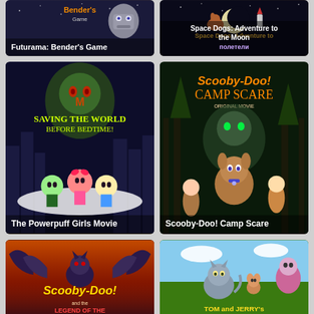[Figure (screenshot): Futurama: Bender's Game animated movie cover with title overlay at bottom left]
[Figure (screenshot): Space Dogs: Adventure to the Moon animated movie cover with Cyrillic text and title centered]
[Figure (screenshot): The Powerpuff Girls Movie cover showing three superhero girls saving the world before bedtime]
[Figure (screenshot): Scooby-Doo! Camp Scare original movie cover with Scooby-Doo and characters in a dark forest]
[Figure (screenshot): Scooby-Doo and the Legend of the Vampire animated movie cover with bat and gothic logo]
[Figure (screenshot): Tom and Jerry's animated movie cover with Tom and Jerry in an outdoor scene]